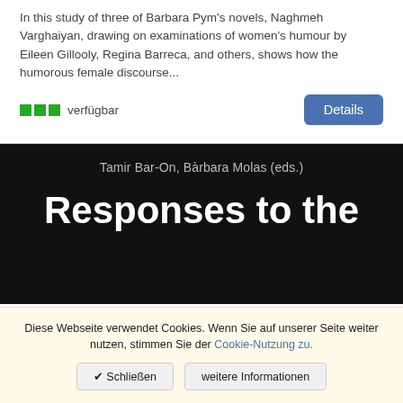In this study of three of Barbara Pym's novels, Naghmeh Varghaiyan, drawing on examinations of women's humour by Eileen Gillooly, Regina Barreca, and others, shows how the humorous female discourse...
verfügbar
Details
[Figure (illustration): Book cover with black background showing editors 'Tamir Bar-On, Bàrbara Molas (eds.)' and partial title 'Responses to the']
Diese Webseite verwendet Cookies. Wenn Sie auf unserer Seite weiter nutzen, stimmen Sie der Cookie-Nutzung zu.
✔ Schließen
weitere Informationen